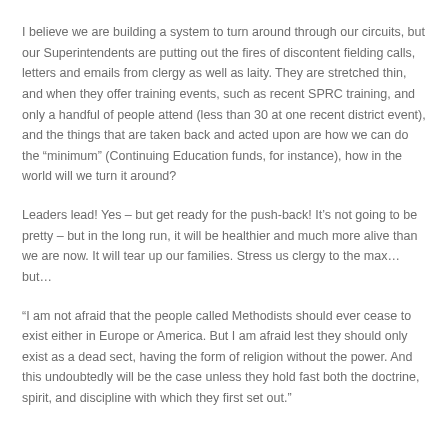I believe we are building a system to turn around through our circuits, but our Superintendents are putting out the fires of discontent fielding calls, letters and emails from clergy as well as laity. They are stretched thin, and when they offer training events, such as recent SPRC training, and only a handful of people attend (less than 30 at one recent district event), and the things that are taken back and acted upon are how we can do the “minimum” (Continuing Education funds, for instance), how in the world will we turn it around?
Leaders lead! Yes – but get ready for the push-back! It’s not going to be pretty – but in the long run, it will be healthier and much more alive than we are now. It will tear up our families. Stress us clergy to the max… but…
“I am not afraid that the people called Methodists should ever cease to exist either in Europe or America. But I am afraid lest they should only exist as a dead sect, having the form of religion without the power. And this undoubtedly will be the case unless they hold fast both the doctrine, spirit, and discipline with which they first set out.”